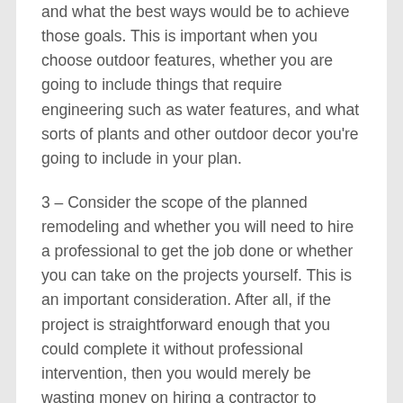and what the best ways would be to achieve those goals. This is important when you choose outdoor features, whether you are going to include things that require engineering such as water features, and what sorts of plants and other outdoor decor you're going to include in your plan.
3 – Consider the scope of the planned remodeling and whether you will need to hire a professional to get the job done or whether you can take on the projects yourself. This is an important consideration. After all, if the project is straightforward enough that you could complete it without professional intervention, then you would merely be wasting money on hiring a contractor to assist. However, if you attempt to complete the remodel yourself and it turned out to be so complex that you need to call in a contractor to repair damage, then it could end up being significantly more expensive than it would've been had you called in a contractor from the beginning.